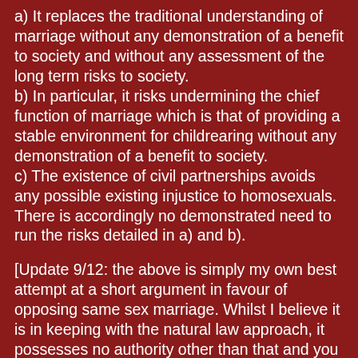a) It replaces the traditional understanding of marriage without any demonstration of a benefit to society and without any assessment of the long term risks to society.
b) In particular, it risks undermining the chief function of marriage which is that of providing a stable environment for childrearing without any demonstration of a benefit to society.
c) The existence of civil partnerships avoids any possible existing injustice to homosexuals. There is accordingly no demonstrated need to run the risks detailed in a) and b).
[Update 9/12: the above is simply my own best attempt at a short argument in favour of opposing same sex marriage. Whilst I believe it is in keeping with the natural law approach, it possesses no authority other than that and you should feel free to adapt or change it any way.]
Please do this whether you live in Scotland or not. The Equal Marriage Campaign website says nothing about the consultation being restricted to Scottish residents. The terms of the consultation say nothing about this either. It is, moreover, against commonsense: why should the Scottish